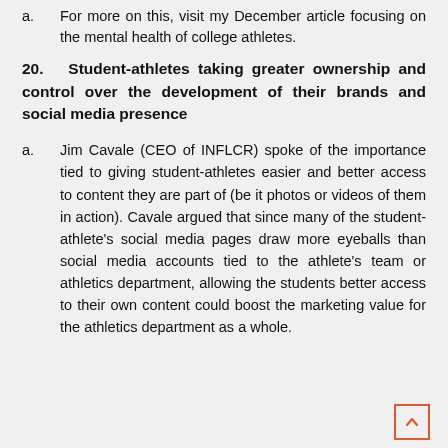a. For more on this, visit my December article focusing on the mental health of college athletes.
20. Student-athletes taking greater ownership and control over the development of their brands and social media presence
a. Jim Cavale (CEO of INFLCR) spoke of the importance tied to giving student-athletes easier and better access to content they are part of (be it photos or videos of them in action). Cavale argued that since many of the student-athlete's social media pages draw more eyeballs than social media accounts tied to the athlete's team or athletics department, allowing the students better access to their own content could boost the marketing value for the athletics department as a whole.